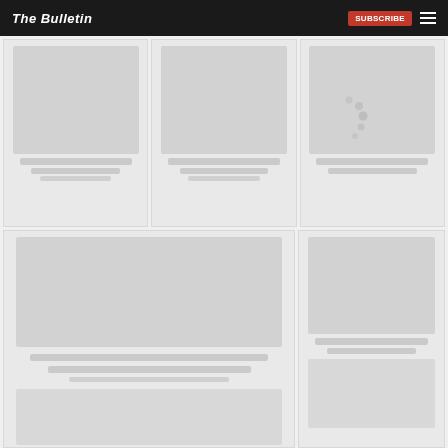The Bulletin
[Figure (screenshot): Website screenshot of The Bulletin news site with a dark header bar showing logo and navigation. The main content area shows a grid of article cards with loading/placeholder images. A loading spinner (arc of dots) is visible in the center of the page, indicating images or content are still loading.]